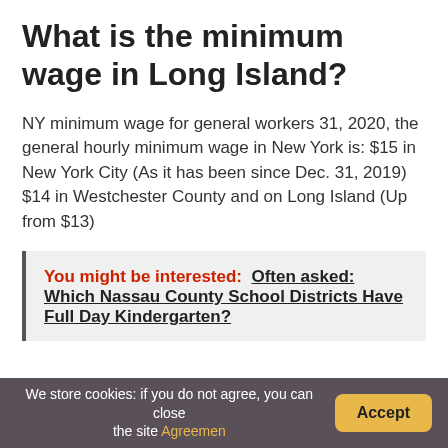What is the minimum wage in Long Island?
NY minimum wage for general workers 31, 2020, the general hourly minimum wage in New York is: $15 in New York City (As it has been since Dec. 31, 2019) $14 in Westchester County and on Long Island (Up from $13)
You might be interested:  Often asked: Which Nassau County School Districts Have Full Day Kindergarten?
We store cookies: if you do not agree, you can close the site Agreemen  Accept